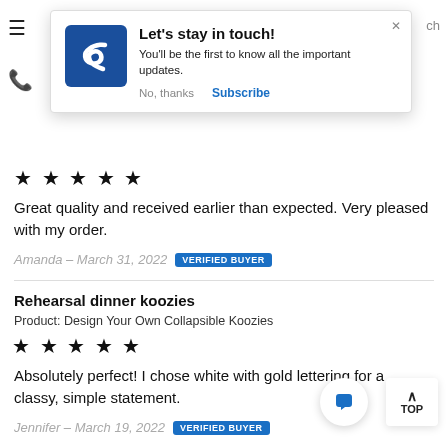[Figure (screenshot): Website popup notification: 'Let's stay in touch!' with logo, description text, No thanks and Subscribe buttons]
Great quality and received earlier than expected. Very pleased with my order.
Amanda – March 31, 2022  VERIFIED BUYER
Rehearsal dinner koozies
Product: Design Your Own Collapsible Koozies
Absolutely perfect! I chose white with gold lettering for a classy, simple statement.
Jennifer – March 19, 2022  VERIFIED BUYER